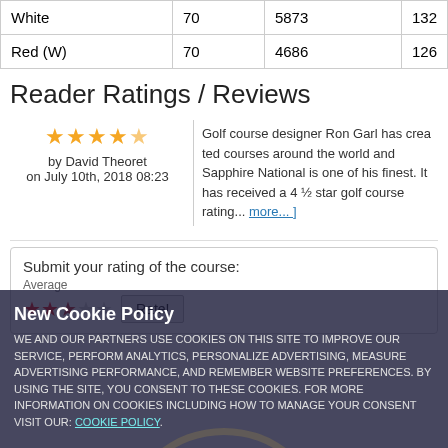|  |  |  |  |
| --- | --- | --- | --- |
| White | 70 | 5873 | 132 |
| Red (W) | 70 | 4686 | 126 |
Reader Ratings / Reviews
★★★★½ by David Theoret on July 10th, 2018 08:23
Golf course designer Ron Garl has created some of the greatest courses around the world and Sapphire National is considered one of his finest. It has received a 4 ½ star golf co... more... ]
Submit your rating of the course:
Average
★★★☆☆ Rate!
New Cookie Policy
WE AND OUR PARTNERS USE COOKIES ON THIS SITE TO IMPROVE OUR SERVICE, PERFORM ANALYTICS, PERSONALIZE ADVERTISING, MEASURE ADVERTISING PERFORMANCE, AND REMEMBER WEBSITE PREFERENCES. BY USING THE SITE, YOU CONSENT TO THESE COOKIES. FOR MORE INFORMATION ON COOKIES INCLUDING HOW TO MANAGE YOUR CONSENT VISIT OUR: COOKIE POLICY.
CONTINUE
Contact us | Advertising Info | Privacy Policy | Terms of Use | Ad